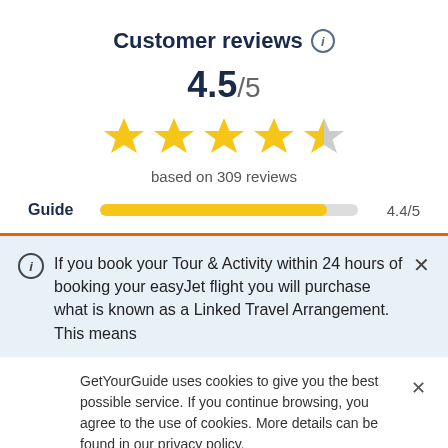Customer reviews ℹ
4.5/5
[Figure (other): 4.5 out of 5 stars rating — four full gold stars and one half gold star]
based on 309 reviews
Guide  4.4/5
If you book your Tour & Activity within 24 hours of booking your easyJet flight you will purchase what is known as a Linked Travel Arrangement. This means
GetYourGuide uses cookies to give you the best possible service. If you continue browsing, you agree to the use of cookies. More details can be found in our privacy policy.